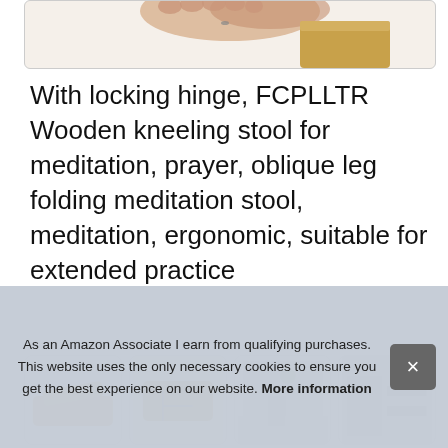[Figure (photo): Top portion of a product photo showing a wooden kneeling stool with a person's bare feet visible]
With locking hinge, FCPLLTR Wooden kneeling stool for meditation, prayer, oblique leg folding meditation stool, meditation, ergonomic, suitable for extended practice
[Figure (photo): Thumbnail row of four product images showing the wooden meditation kneeling stool from different angles]
As an Amazon Associate I earn from qualifying purchases. This website uses the only necessary cookies to ensure you get the best experience on our website. More information
FCP
curvature of the kneeling stool and the gentle slope can